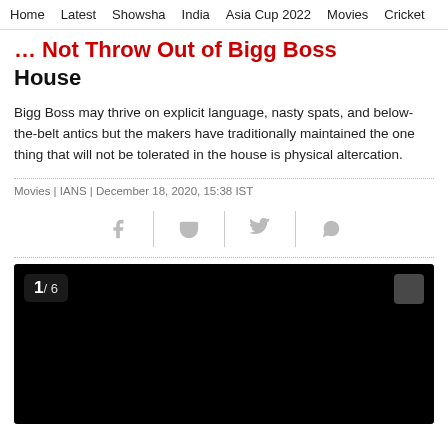Home  Latest  Showsha  India  Asia Cup 2022  Movies  Cricket
… Not Throw Out of Bigg Boss House
Bigg Boss may thrive on explicit language, nasty spats, and below-the-belt antics but the makers have traditionally maintained the one thing that will not be tolerated in the house is physical altercation.
Movies | IANS | December 18, 2020, 15:38 IST
[Figure (screenshot): Social share icons: Facebook, Pocket, Twitter, WhatsApp, separated by vertical dividers]
[Figure (photo): Black image area showing photo 1 of 6 gallery with counter badge and navigation button]